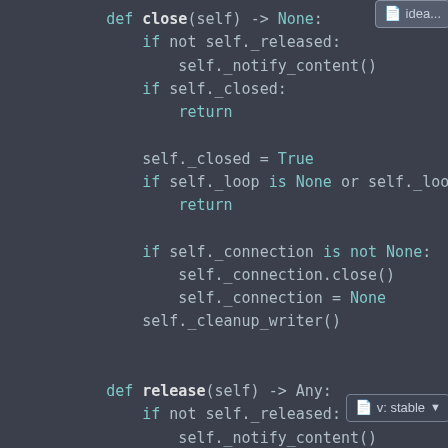[Figure (screenshot): Python source code screenshot in a dark IDE theme showing two method definitions: 'close' and 'release', with syntax highlighting. A 'v: stable' version badge appears in the bottom right corner.]